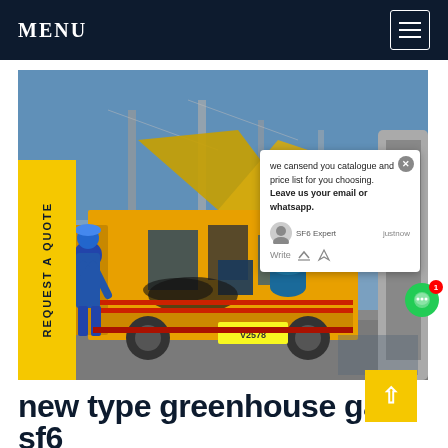MENU
[Figure (photo): A yellow specialized SF6 gas service truck with open panels, showing equipment and machinery inside, parked at an electrical substation. A worker in blue overalls and helmet is loading/unloading cables. A chat popup overlay is visible on the right side showing text: 'we cansend you catalogue and price list for you choosing. Leave us your email or whatsapp.' with SF6 Expert label and justnow timestamp.]
new type greenhouse gas sf6